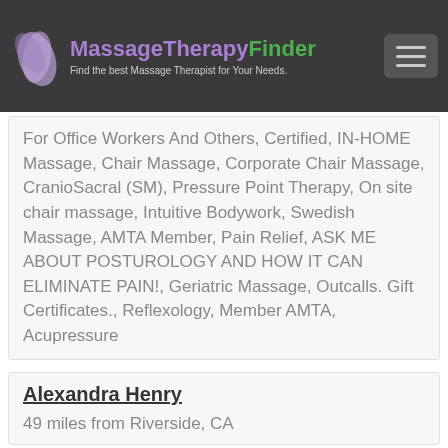MassageTherapyFinder - Find the best Massage Therapist for Your Needs.
For Office Workers And Others, Certified, IN-HOME Massage, Chair Massage, Corporate Chair Massage, CranioSacral (SM), Pressure Point Therapy, On site chair massage, Intuitive Bodywork, Swedish Massage, AMTA Member, Pain Relief, ASK ME ABOUT POSTUROLOGY AND HOW IT CAN ELIMINATE PAIN!, Geriatric Massage, Outcalls. Gift Certificates., Reflexology, Member AMTA, Acupressure
Alexandra Henry
49 miles from Riverside, CA
Hello All! I am a body healer looking to connect with new clients. I put my energy and abilities into making